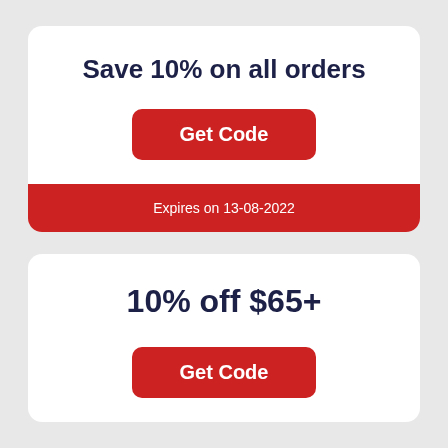Save 10% on all orders
Get Code
Expires on 13-08-2022
10% off $65+
Get Code